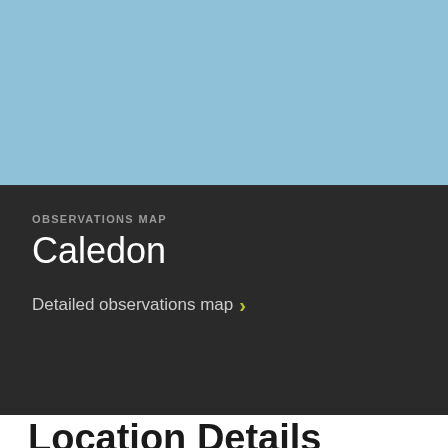[Figure (map): Light blue map area showing Caledon observations map background]
OBSERVATIONS MAP
Caledon
Detailed observations map >
Location Details
Location: 54.351, -6.837